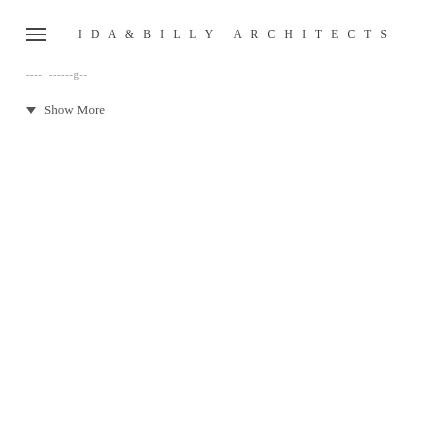IDA & BILLY ARCHITECTS
---- --- ----g---
▼ Show More